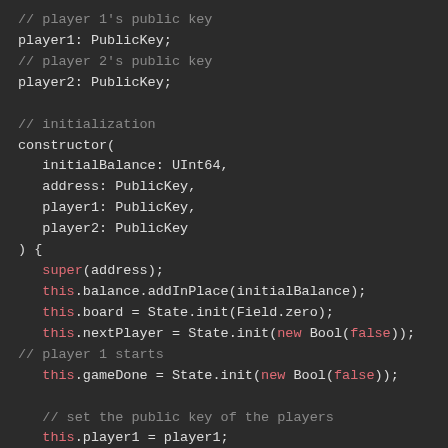[Figure (screenshot): Code screenshot showing a smart contract constructor in a dark-themed code editor. The code defines player1 and player2 PublicKey fields with comments, then a constructor taking initialBalance (UInt64), address, player1, and player2 (PublicKey) parameters. The constructor body calls super(address), initializes this.balance, this.board, this.nextPlayer, this.gameDone using State.init with Field.zero and new Bool(false), then sets this.player1 and this.player2.]